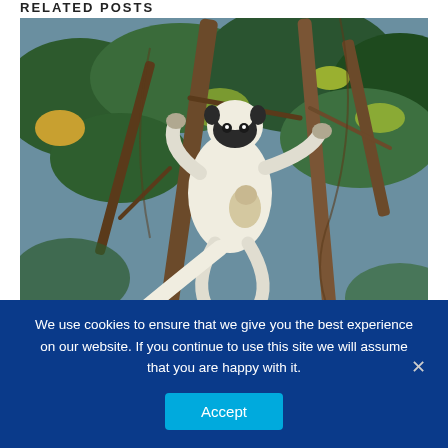RELATED POSTS
[Figure (photo): A white sifaka lemur clinging to tree branches in a forested setting. The lemur has white fur, a dark face, and is photographed outdoors with trees and foliage in the background.]
We use cookies to ensure that we give you the best experience on our website. If you continue to use this site we will assume that you are happy with it.